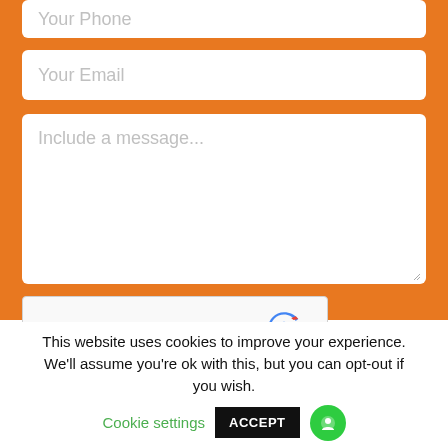Your Phone
Your Email
Include a message...
[Figure (other): reCAPTCHA widget with checkbox labeled I'm not a robot]
Send Message
This website uses cookies to improve your experience. We'll assume you're ok with this, but you can opt-out if you wish. Cookie settings ACCEPT